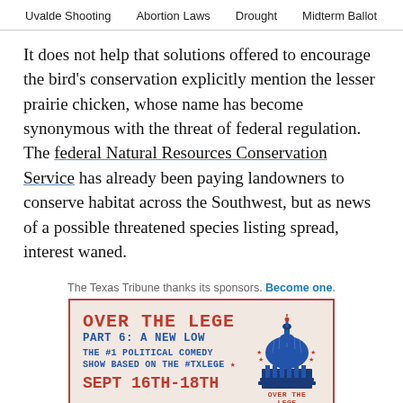Uvalde Shooting   Abortion Laws   Drought   Midterm Ballot
It does not help that solutions offered to encourage the bird's conservation explicitly mention the lesser prairie chicken, whose name has become synonymous with the threat of federal regulation. The federal Natural Resources Conservation Service has already been paying landowners to conserve habitat across the Southwest, but as news of a possible threatened species listing spread, interest waned.
The Texas Tribune thanks its sponsors. Become one.
[Figure (illustration): Advertisement for 'Over The Lege Part 6: A New Low' — a political comedy show based on #txlege, Sept 16th-18th, with an illustration of the Texas State Capitol dome.]